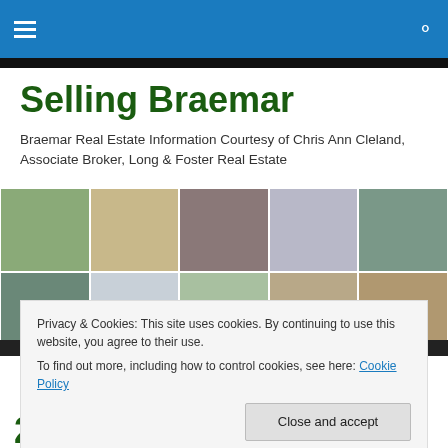Selling Braemar – navigation bar with hamburger menu and search icon
Selling Braemar
Braemar Real Estate Information Courtesy of Chris Ann Cleland, Associate Broker, Long & Foster Real Estate
[Figure (photo): Collage of suburban residential home photographs arranged in two rows of five images each, showing various Braemar neighborhood houses.]
Privacy & Cookies: This site uses cookies. By continuing to use this website, you agree to their use.
To find out more, including how to control cookies, see here: Cookie Policy
Close and accept
2015 (NV Homes)